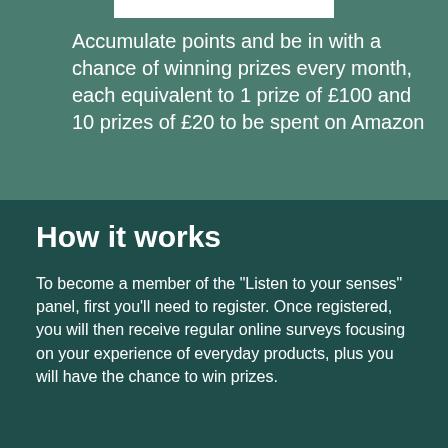Accumulate points and be in with a chance of winning prizes every month, each equivalent to 1 prize of £100 and 10 prizes of £20 to be spent on Amazon
How it works
To become a member of the "Listen to your senses" panel, first you'll need to register. Once registered, you will then receive regular online surveys focusing on your experience of everyday products, plus you will have the chance to win prizes.